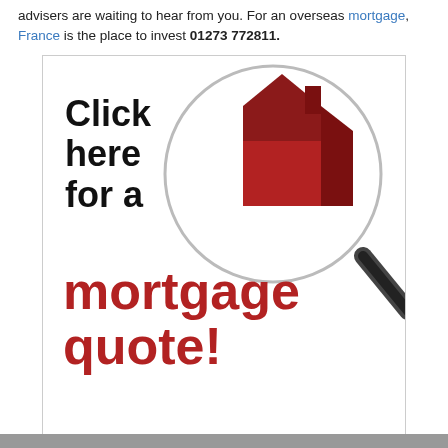advisers are waiting to hear from you. For an overseas mortgage, France is the place to invest 01273 772811.
[Figure (illustration): Advertisement banner with magnifying glass over a red house icon, text 'Click here for a mortgage quote!' in black and red, with a red footer bar reading 'FREE Approval in Principle Certificate']